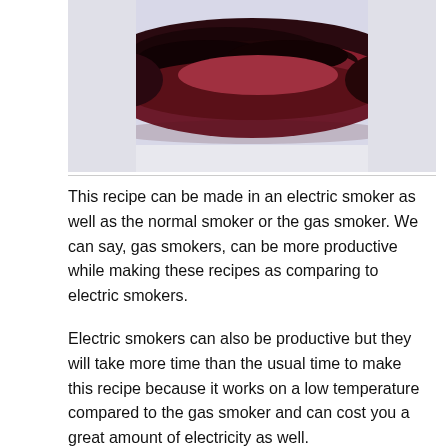[Figure (photo): A close-up photo of a piece of smoked meat with a dark bark and reddish interior, placed on a white surface.]
This recipe can be made in an electric smoker as well as the normal smoker or the gas smoker. We can say, gas smokers, can be more productive while making these recipes as comparing to electric smokers.
Electric smokers can also be productive but they will take more time than the usual time to make this recipe because it works on a low temperature compared to the gas smoker and can cost you a great amount of electricity as well.
We have tried both of the smokers and both of